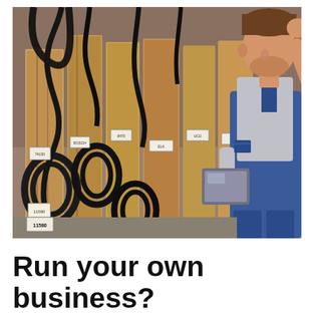[Figure (photo): A man in work overalls and grey t-shirt holding a tablet, examining shelves of industrial belts and parts wrapped in brown paper bags with tags. The scene is a parts warehouse or storage room.]
Run your own business?